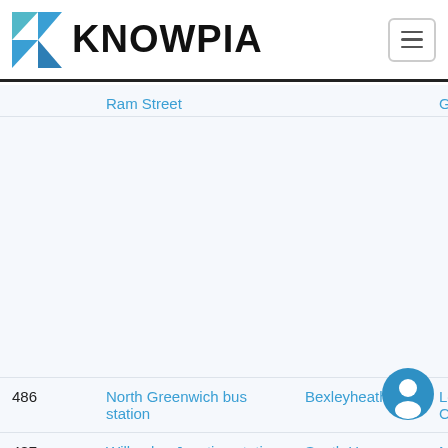KNOWPIA
| Route | From | To | Operator |
| --- | --- | --- | --- |
|  | Ram Street |  | General |
| 486 | North Greenwich bus station | Bexleyheath | London Central |
| 487 | Willesden Junction station | South Harrow station | Metro... |